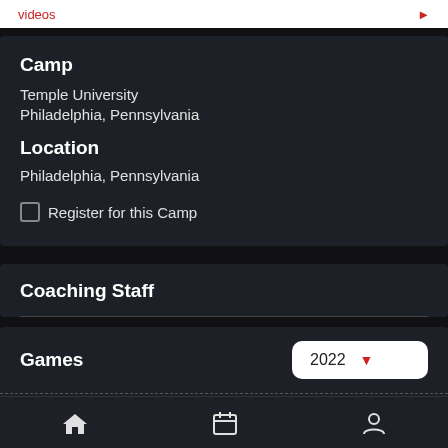videos
Camp
Temple University
Philadelphia, Pennsylvania
Location
Philadelphia, Pennsylvania
Register for this Camp
Coaching Staff
Games
2022
* Signifies that game is non-conference
Home | Calendar | Profile